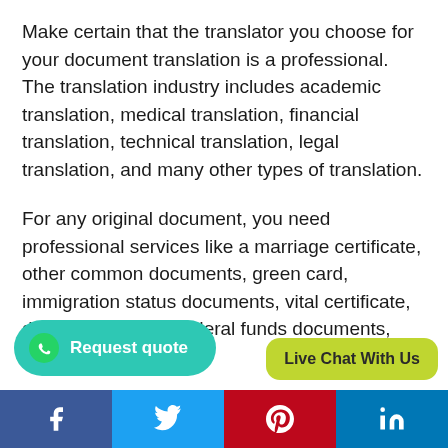Make certain that the translator you choose for your document translation is a professional. The translation industry includes academic translation, medical translation, financial translation, technical translation, legal translation, and many other types of translation.
For any original document, you need professional services like a marriage certificate, other common documents, green card, immigration status documents, vital certificate, divo… certificates, federal funds documents, civil
[Figure (other): Request quote button with WhatsApp icon on teal/green rounded background]
[Figure (other): Live Chat With Us button on yellow-green rounded background]
Facebook | Twitter | Pinterest | LinkedIn social share bar